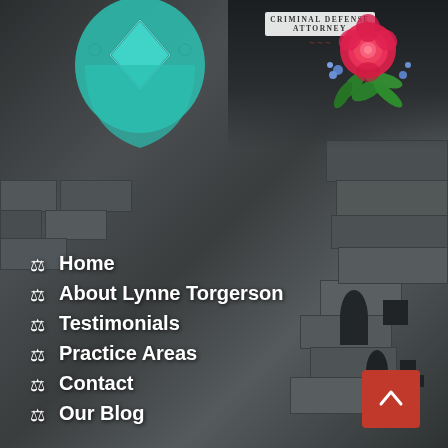[Figure (logo): Criminal Defense Attorney logo with teal shield/badge and floral decoration (roses) in top area, with text 'Criminal Defense Attorney']
⚖ Home
⚖ About Lynne Torgerson
⚖ Testimonials
⚖ Practice Areas
⚖ Contact
⚖ Our Blog
Lynne Torgerson, Esq.
Attorney at Law
222 South Ninth Street
Suite 1600
Minneapolis, Minnesota 55402
Phone: (612) 339-5073
L@Lynnetorgerson.com